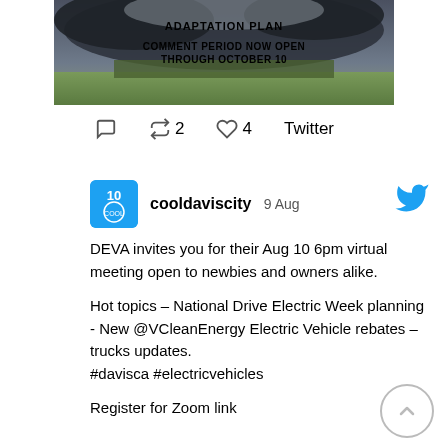[Figure (photo): Stormy sky over green field with text: ADAPTATION PLAN / COMMENT PERIOD NOW OPEN / THROUGH OCTOBER 10]
2  4  Twitter
[Figure (logo): cooldaviscity avatar - square blue logo with '10' and a circular emblem]
cooldaviscity 9 Aug
DEVA invites you for their Aug 10 6pm virtual meeting open to newbies and owners alike.

Hot topics – National Drive Electric Week planning - New @VCleanEnergy Electric Vehicle rebates – trucks updates.
#davisca #electricvehicles

Register for Zoom link